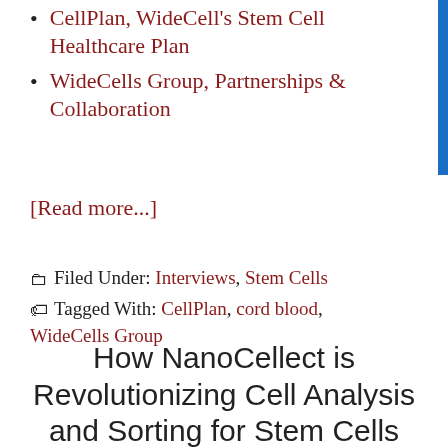CellPlan, WideCell's Stem Cell Healthcare Plan
WideCells Group, Partnerships & Collaboration
[Read more...]
Filed Under: Interviews, Stem Cells
Tagged With: CellPlan, cord blood, WideCells Group
How NanoCellect is Revolutionizing Cell Analysis and Sorting for Stem Cells